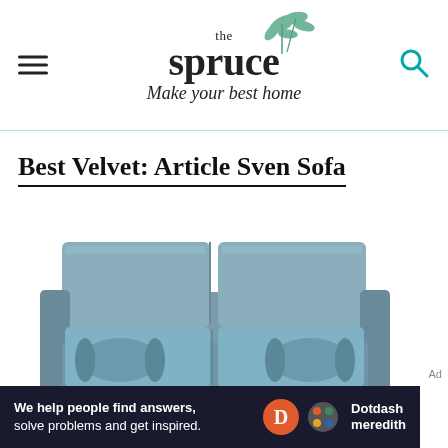the spruce — Make your best home
Best Velvet: Article Sven Sofa
[Figure (photo): A blue-grey modern sofa (Article Sven Sofa) with two cylindrical bolster pillows on each armrest, photographed on white background]
[Figure (logo): Dotdash Meredith advertisement banner: 'We help people find answers, solve problems and get inspired.' with Dotdash Meredith logo]